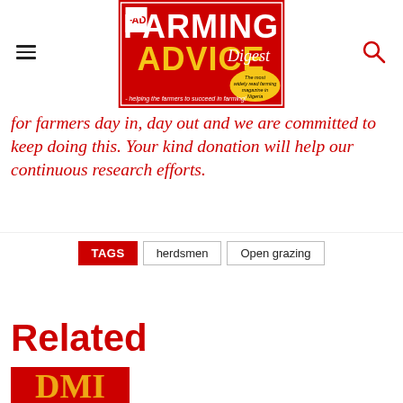[Figure (logo): FAD Farming Advice Digest magazine logo — red background with gold and white text reading FARMING ADVICE Digest, tagline 'helping the farmers to succeed in farming!']
for farmers day in, day out and we are committed to keep doing this. Your kind donation will help our continuous research efforts.
TAGS  herdsmen  Open grazing
Related
[Figure (logo): Partial red/gold logo thumbnail at bottom of page]